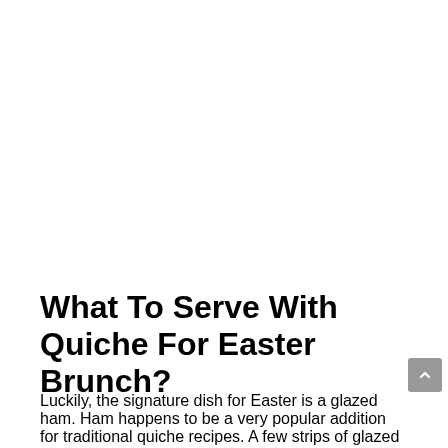What To Serve With Quiche For Easter Brunch?
Luckily, the signature dish for Easter is a glazed ham. Ham happens to be a very popular addition for traditional quiche recipes. A few strips of glazed ham can make